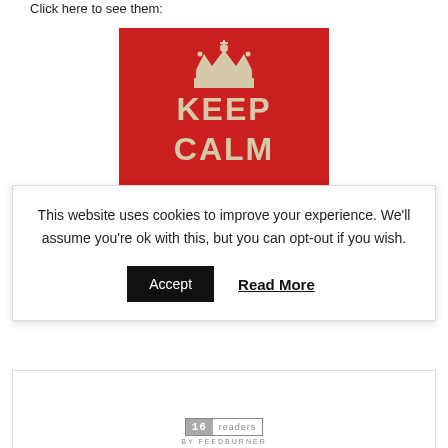Click here to see them:
[Figure (illustration): Keep Calm red poster with crown - partially visible showing KEEP and CALM text]
This website uses cookies to improve your experience. We'll assume you're ok with this, but you can opt-out if you wish. Accept   Read More
[Figure (other): FeedBurner readers widget showing 16 readers BY FEEDBURNER]